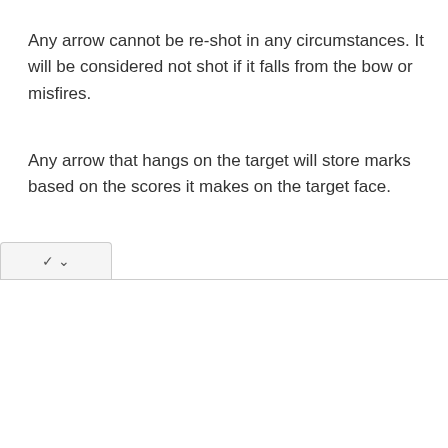Any arrow cannot be re-shot in any circumstances. It will be considered not shot if it falls from the bow or misfires.
Any arrow that hangs on the target will store marks based on the scores it makes on the target face.